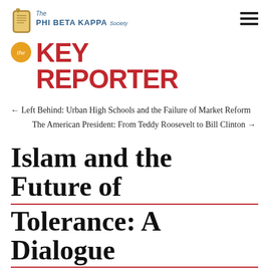The Phi Beta Kappa Society
KEY REPORTER
← Left Behind: Urban High Schools and the Failure of Market Reform
The American President: From Teddy Roosevelt to Bill Clinton →
Islam and the Future of Tolerance: A Dialogue